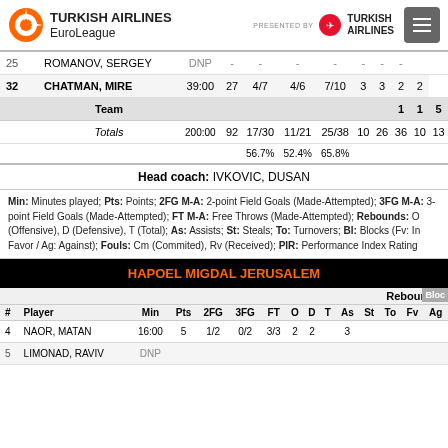TURKISH AIRLINES EuroLeague — presented by TURKISH AIRLINES
| # | Player | Min | Pts | 2FG | 3FG | FT | O | D | T | As | St | To | Fv | Ag |
| --- | --- | --- | --- | --- | --- | --- | --- | --- | --- | --- | --- | --- | --- | --- |
| 25 | ROMANOV, SERGEY | DNP | - | - | - | - | - | - | - | - | - | - | - |
| 32 | CHATMAN, MIRE | 39:00 | 27 | 4/7 | 4/6 | 7/10 | 3 | 3 | 2 | 2 |  |  |  |
|  | Team |  |  |  |  |  |  |  |  | 1 | 1 | 5 |  |
|  | Totals | 200:00 | 92 | 17/30 | 11/21 | 25/38 | 10 | 26 | 36 | 10 | 13 |  |  |
|  |  |  |  | 56.7% | 52.4% | 65.8% |  |  |  |  |  |  |  |
Head coach: IVKOVIC, DUSAN
Min: Minutes played; Pts: Points; 2FG M-A: 2-point Field Goals (Made-Attempted); 3FG M-A: 3-point Field Goals (Made-Attempted); FT M-A: Free Throws (Made-Attempted); Rebounds: O (Offensive), D (Defensive), T (Total); As: Assists; St: Steals; To: Turnovers; Bl: Blocks (Fv: In Favor / Ag: Against); Fouls: Cm (Commited), Rv (Received); PIR: Performance Index Rating
HAPOEL MIGDAL JERUSALEM
| # | Player | Min | Pts | 2FG | 3FG | FT | O | D | T | As | St | To | Fv | Ag |
| --- | --- | --- | --- | --- | --- | --- | --- | --- | --- | --- | --- | --- | --- | --- |
| 4 | NAOR, MATAN | 16:00 | 5 | 1/2 | 0/2 | 3/3 | 2 | 2 |  | 3 |  |  |  |  |
| 5 | LIMONAD, RAVIV | DNP |  |  |  |  |  |  |  |  |  |  |  |  |